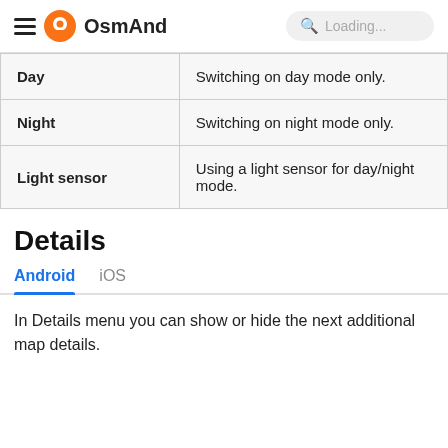OsmAnd  Loading...
| Day | Switching on day mode only. |
| Night | Switching on night mode only. |
| Light sensor | Using a light sensor for day/night mode. |
Details
Android  iOS
In Details menu you can show or hide the next additional map details.